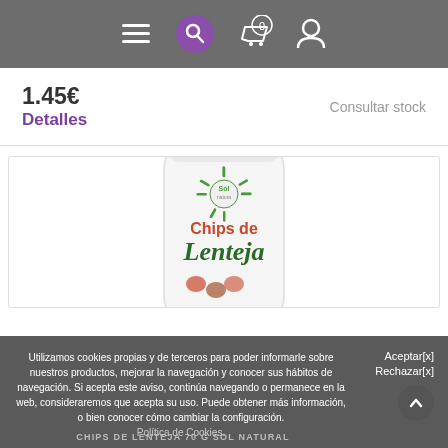Navigation bar with menu, search, cart (0), and user icons
1.45€
Detalles
Consultar stock
[Figure (photo): Product bag of Sol Natura Chips de Lenteja (lentil chips) on white background]
Utilizamos cookies propias y de terceros para poder informarle sobre nuestros productos, mejorar la navegación y conocer sus hábitos de navegación. Si acepta este aviso, continúa navegando o permanece en la web, consideraremos que acepta su uso. Puede obtener más información, o bien conocer cómo cambiar la configuración.
Política de Cookies.
Aceptar[x]
Rechazar[x]
CHIPS DE LENTEJA 70 G SOL NATURAL